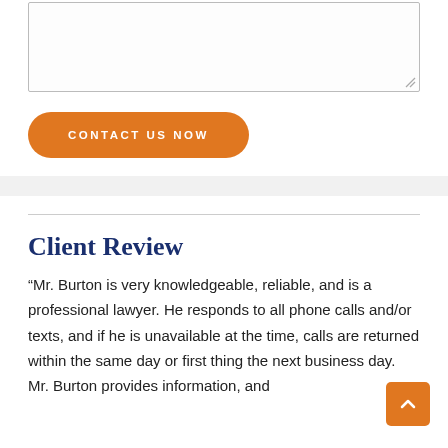[Figure (other): A textarea input box with a resize handle in the bottom-right corner, part of a contact form]
CONTACT US NOW
Client Review
“Mr. Burton is very knowledgeable, reliable, and is a professional lawyer. He responds to all phone calls and/or texts, and if he is unavailable at the time, calls are returned within the same day or first thing the next business day. Mr. Burton provides information, and